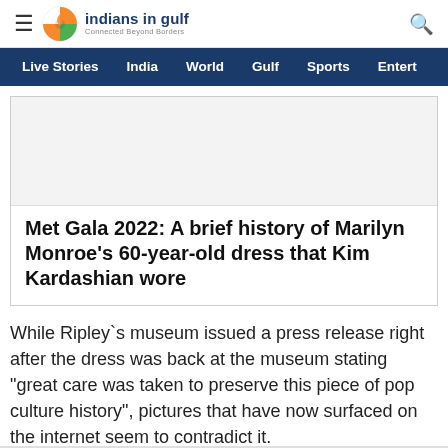indiansIngulf — Connected Beyond Borders | navigation: Live Stories, India, World, Gulf, Sports, Entert
Met Gala 2022: A brief history of Marilyn Monroe's 60-year-old dress that Kim Kardashian wore
While Ripley`s museum issued a press release right after the dress was back at the museum stating "great care was taken to preserve this piece of pop culture history", pictures that have now surfaced on the internet seem to contradict it.